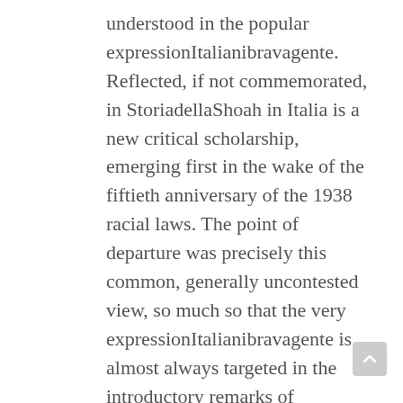understood in the popular expressionItalianibravagente. Reflected, if not commemorated, in StoriadellaShoah in Italia is a new critical scholarship, emerging first in the wake of the fiftieth anniversary of the 1938 racial laws. The point of departure was precisely this common, generally uncontested view, so much so that the very expressionItalianibravagente is almost always targeted in the introductory remarks of everything written during the past two decades. Additionally, reflecting trends in current scholarship, this new collection reveals not only how the earlier view ascribed sole responsibility for what happened to the bad Germans, but avoided recognition of how Fascist anti-Semitic policy from 1938 to July 1943 facilitated the core practices of the Shoah under German